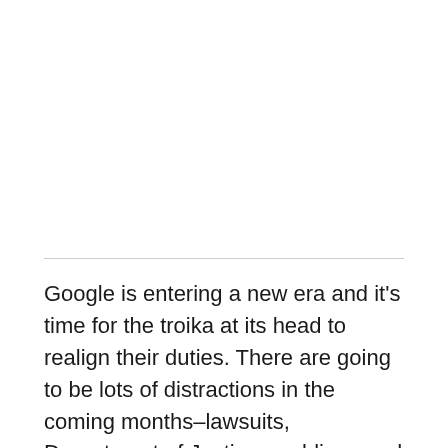Google is entering a new era and it's time for the troika at its head to realign their duties. There are going to be lots of distractions in the coming months–lawsuits, Department of Justice rumblings and privacy grumblings–which could interfere with innovation at and management of the company. Schmidt may be ready to be a lightning rod for